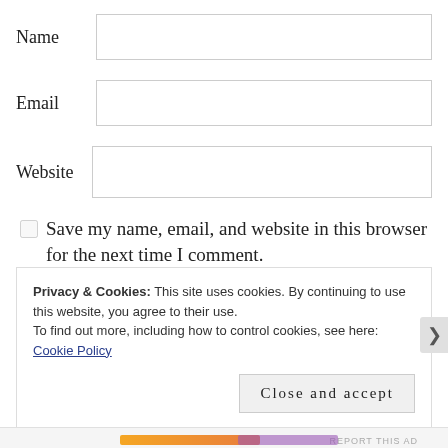Name
Email
Website
Save my name, email, and website in this browser for the next time I comment.
Privacy & Cookies: This site uses cookies. By continuing to use this website, you agree to their use.
To find out more, including how to control cookies, see here: Cookie Policy
Close and accept